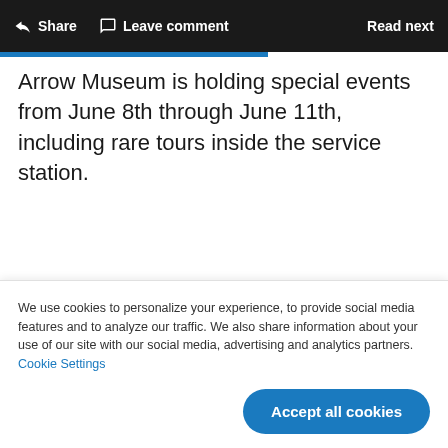Share   Leave comment   Read next
Arrow Museum is holding special events from June 8th through June 11th, including rare tours inside the service station.
Visitor information:
Wright service station in Cloquet: 202 Cloquet
We use cookies to personalize your experience, to provide social media features and to analyze our traffic. We also share information about your use of our site with our social media, advertising and analytics partners. Cookie Settings
Accept all cookies